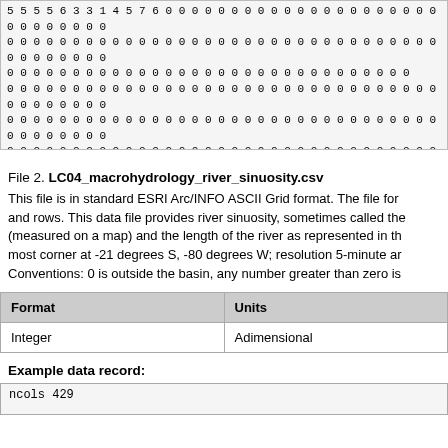5 5 5 5 6 3 3 1 4 5 7 6 0 0 0 0 0 0 0 0 0 0 0 0 0 0 0 0 0 0 0 0 0 0 0 0 0 0 0 0
0 0 0 0 0 0 0 0 0 0 0 0 0 0 0 0 0 0 0 0 0 0 0 0 0 0 0 0 0 0 0 0 0 0 0 0 0 0 0 0
0 0 0 0 0 0 0 0 0 0 0 0 0 0 0 0 0 0 0 0 0 0 0 0 0 0 0 0 0 0 0
0 0 0 0 0 0 0 0 0 0 0 0 0 0 0 0 0 0 0 0 0 0 0 0 0 0 0 0 0 0 0 0 0 0 0 0 0 0 0 0
0 0 0 0 0 0 0 0 0 0 0 0 0 0 0 0 0 0 0 0 0 0 0 0 0 0 0 0 0 0 0 0 0 0 0 0 0 0 0 0
0 0 0 0 0 0 0 0 0 0 0 0 0 0 0 0 0 0 0 0 0 0 0 0 0 0 0 0 0 0 0 0 0 0 0 0 0 0 0 0
4 5 6 6 7 4 4 4 5 5 6 6 0 0 0 0 0 0 0 0 0 0 0 0 0 0 0 0 0 0 0 0 0 0 0 0 0 0 0 0
0 0 0 0 0 0 0 0 0 0 0 0 0 0 0 0 0 0 0 0 0 0 0 0 0 0 0 0 0 0 0 0 0 0 0 0 0 0 0 0
0 0 0 0 0 0 0 0 0 0 0 0 0 0 0 0 0 0 0 0 0 0 0 0 0 0 0 0 0 0 0 ....
File 2. LC04_macrohydrology_river_sinuosity.csv
This file is in standard ESRI Arc/INFO ASCII Grid format. The file for and rows. This data file provides river sinuosity, sometimes called the (measured on a map) and the length of the river as represented in th most corner at -21 degrees S, -80 degrees W; resolution 5-minute ar Conventions: 0 is outside the basin, any number greater than zero is
| Format | Units |
| --- | --- |
| Integer | Adimensional |
Example data record:
ncols 429